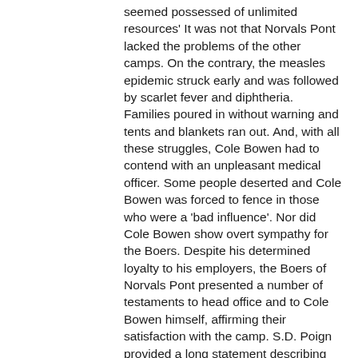seemed possessed of unlimited resources' It was not that Norvals Pont lacked the problems of the other camps. On the contrary, the measles epidemic struck early and was followed by scarlet fever and diphtheria. Families poured in without warning and tents and blankets ran out. And, with all these struggles, Cole Bowen had to contend with an unpleasant medical officer. Some people deserted and Cole Bowen was forced to fence in those who were a 'bad influence'. Nor did Cole Bowen show overt sympathy for the Boers. Despite his determined loyalty to his employers, the Boers of Norvals Pont presented a number of testaments to head office and to Cole Bowen himself, affirming their satisfaction with the camp. S.D. Poign provided a long statement describing their lives in considerable detail He concluded: 'With these few suggestions, I, a person brought here against my will, and wish [to] beg to attest, that I have no reason to object in any manner over the way in which I have been treated while in this camp, neither have I any reason to complain that the authorities have not treated me with that